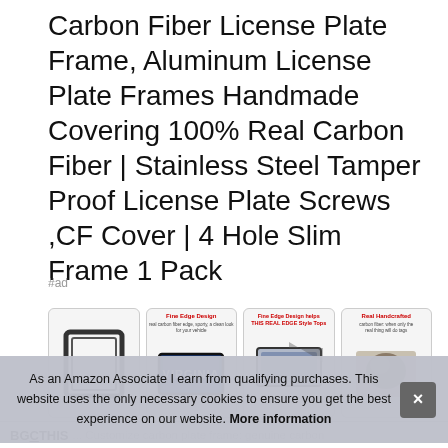Carbon Fiber License Plate Frame, Aluminum License Plate Frames Handmade Covering 100% Real Carbon Fiber | Stainless Steel Tamper Proof License Plate Screws ,CF Cover | 4 Hole Slim Frame 1 Pack
#ad
[Figure (photo): Row of four product thumbnail images showing carbon fiber license plate frame product photos with red headers: 'Fine Edge Design', product image with VIRGINIA plate, another product angle, and 'Real Handcrafted' label]
As an Amazon Associate I earn from qualifying purchases. This website uses the only necessary cookies to ensure you get the best experience on our website. More information
BGCTHIS ... Customize carbon plate frame: genuine carbon